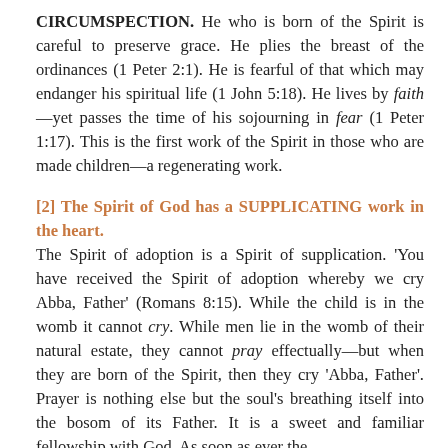CIRCUMSPECTION. He who is born of the Spirit is careful to preserve grace. He plies the breast of the ordinances (1 Peter 2:1). He is fearful of that which may endanger his spiritual life (1 John 5:18). He lives by faith—yet passes the time of his sojourning in fear (1 Peter 1:17). This is the first work of the Spirit in those who are made children—a regenerating work.
[2] The Spirit of God has a SUPPLICATING work in the heart.
The Spirit of adoption is a Spirit of supplication. 'You have received the Spirit of adoption whereby we cry Abba, Father' (Romans 8:15). While the child is in the womb it cannot cry. While men lie in the womb of their natural estate, they cannot pray effectually—but when they are born of the Spirit, then they cry 'Abba, Father'. Prayer is nothing else but the soul's breathing itself into the bosom of its Father. It is a sweet and familiar fellowship with God. As soon as ever the